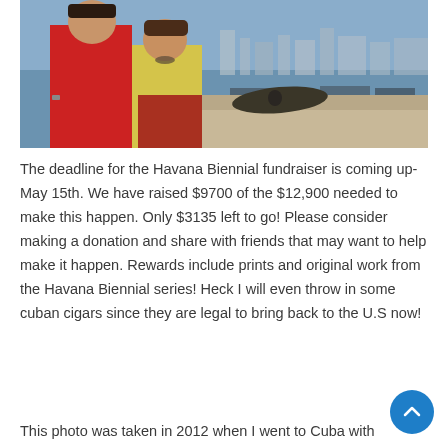[Figure (photo): Two people standing in front of old cannons with a harbor and city skyline in the background. One person wears a red shirt, the other a yellow tank top and red skirt. The photo appears to be taken in Havana, Cuba.]
The deadline for the Havana Biennial fundraiser is coming up- May 15th. We have raised $9700 of the $12,900 needed to make this happen. Only $3135 left to go! Please consider making a donation and share with friends that may want to help make it happen. Rewards include prints and original work from the Havana Biennial series! Heck I will even throw in some cuban cigars since they are legal to bring back to the U.S now!
This photo was taken in 2012 when I went to Cuba with